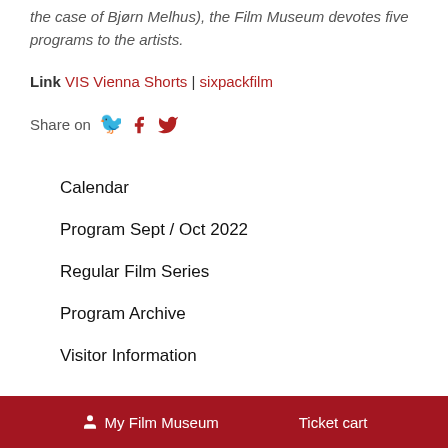the case of Bjørn Melhus), the Film Museum devotes five programs to the artists.
Link VIS Vienna Shorts | sixpackfilm
Share on
Calendar
Program Sept / Oct 2022
Regular Film Series
Program Archive
Visitor Information
My Film Museum   Ticket cart